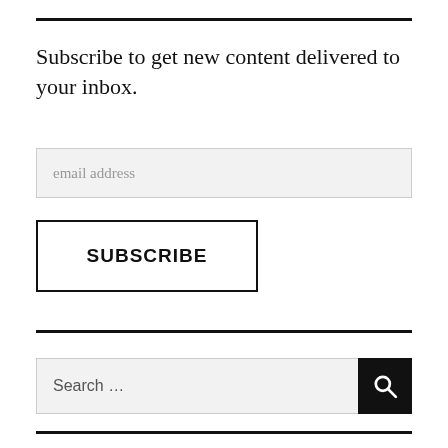Subscribe to get new content delivered to your inbox.
email address
SUBSCRIBE
Search ...